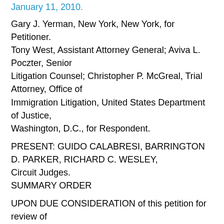January 11, 2010.
Gary J. Yerman, New York, New York, for Petitioner.
Tony West, Assistant Attorney General; Aviva L. Poczter, Senior
Litigation Counsel; Christopher P. McGreal, Trial Attorney, Office of
Immigration Litigation, United States Department of Justice,
Washington, D.C., for Respondent.
PRESENT: GUIDO CALABRESI, BARRINGTON D. PARKER, RICHARD C. WESLEY,
Circuit Judges.
SUMMARY ORDER
UPON DUE CONSIDERATION of this petition for review of a Board of